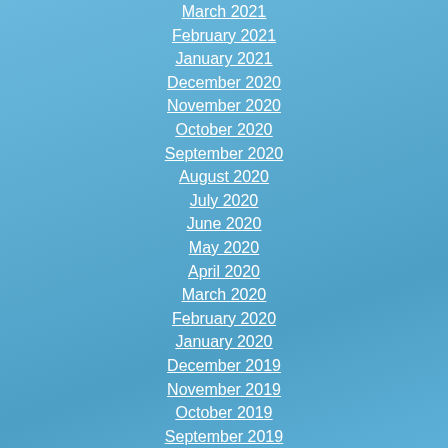March 2021
February 2021
January 2021
December 2020
November 2020
October 2020
September 2020
August 2020
July 2020
June 2020
May 2020
April 2020
March 2020
February 2020
January 2020
December 2019
November 2019
October 2019
September 2019
August 2019
July 2019
June 2019